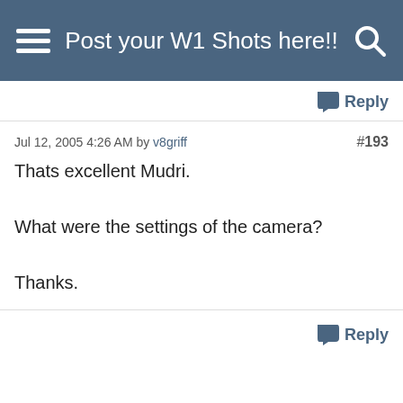Post your W1 Shots here!!
Reply
Jul 12, 2005 4:26 AM by v8griff  #193
Thats excellent Mudri.

What were the settings of the camera?

Thanks.
Reply